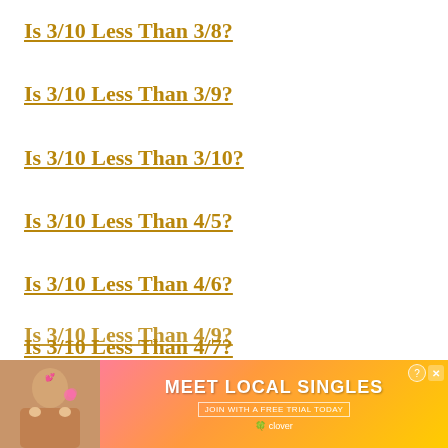Is 3/10 Less Than 3/8?
Is 3/10 Less Than 3/9?
Is 3/10 Less Than 3/10?
Is 3/10 Less Than 4/5?
Is 3/10 Less Than 4/6?
Is 3/10 Less Than 4/7?
Is 3/10 Less Than 4/8?
Is 3/10 Less Than 4/9?
Is 3/10 Less Than...
[Figure (other): Advertisement banner: Meet Local Singles - Join with a free trial today - Clover app ad with photo of woman]